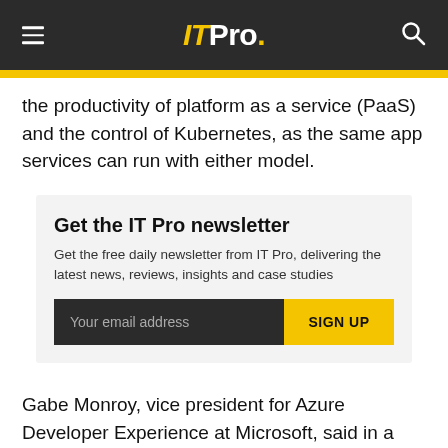IT Pro.
the productivity of platform as a service (PaaS) and the control of Kubernetes, as the same app services can run with either model.
Get the IT Pro newsletter
Get the free daily newsletter from IT Pro, delivering the latest news, reviews, insights and case studies
Gabe Monroy, vice president for Azure Developer Experience at Microsoft, said in a blog post that one